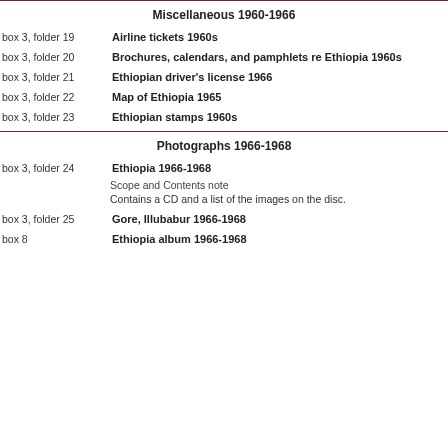Miscellaneous 1960-1966
box 3, folder 19 | Airline tickets 1960s
box 3, folder 20 | Brochures, calendars, and pamphlets re Ethiopia 1960s
box 3, folder 21 | Ethiopian driver's license 1966
box 3, folder 22 | Map of Ethiopia 1965
box 3, folder 23 | Ethiopian stamps 1960s
Photographs 1966-1968
box 3, folder 24 | Ethiopia 1966-1968
Scope and Contents note
Contains a CD and a list of the images on the disc.
box 3, folder 25 | Gore, Illubabur 1966-1968
box 8 | Ethiopia album 1966-1968